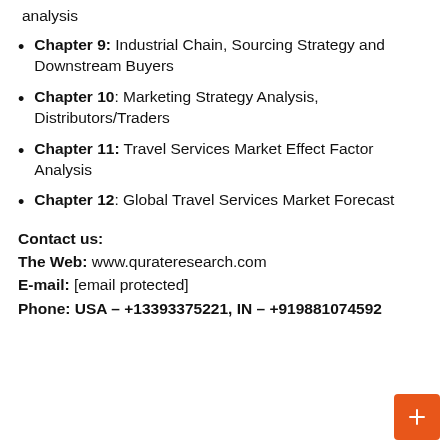analysis
Chapter 9: Industrial Chain, Sourcing Strategy and Downstream Buyers
Chapter 10: Marketing Strategy Analysis, Distributors/Traders
Chapter 11: Travel Services Market Effect Factor Analysis
Chapter 12: Global Travel Services Market Forecast
Contact us:
The Web: www.qurateresearch.com
E-mail: [email protected]
Phone: USA – +13393375221, IN – +919881074592